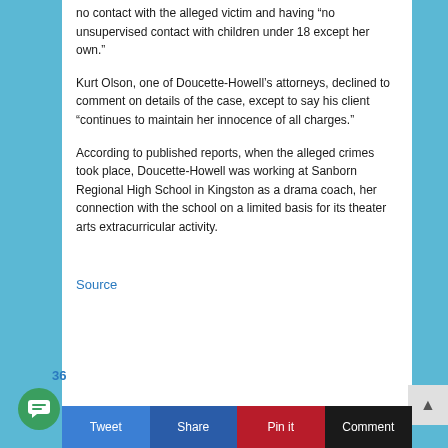no contact with the alleged victim and having “no unsupervised contact with children under 18 except her own.”
Kurt Olson, one of Doucette-Howell’s attorneys, declined to comment on details of the case, except to say his client “continues to maintain her innocence of all charges.”
According to published reports, when the alleged crimes took place, Doucette-Howell was working at Sanborn Regional High School in Kingston as a drama coach, her connection with the school on a limited basis for its theater arts extracurricular activity.
Source
Tweet  Share  Pin it  Comment